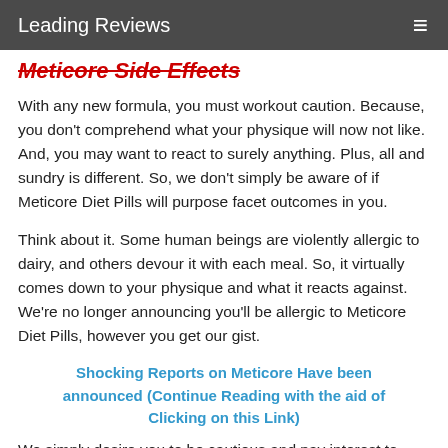Leading Reviews
Meticore Side Effects
With any new formula, you must workout caution. Because, you don't comprehend what your physique will now not like. And, you may want to react to surely anything. Plus, all and sundry is different. So, we don't simply be aware of if Meticore Diet Pills will purpose facet outcomes in you.
Think about it. Some human beings are violently allergic to dairy, and others devour it with each meal. So, it virtually comes down to your physique and what it reacts against. We're no longer announcing you'll be allergic to Meticore Diet Pills, however you get our gist.
Shocking Reports on Meticore Have been announced (Continue Reading with the aid of Clicking on this Link)
We simply desire you to be cautious and pay interest to